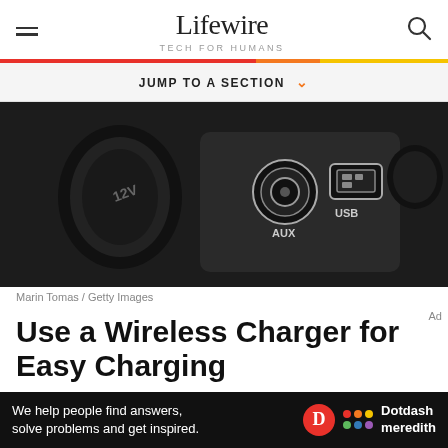Lifewire TECH FOR HUMANS
JUMP TO A SECTION
[Figure (photo): Close-up of car dashboard showing 12V socket, AUX and USB ports on dark panel]
Marin Tomas / Getty Images
Use a Wireless Charger for Easy Charging
We help people find answers, solve problems and get inspired. Dotdash meredith